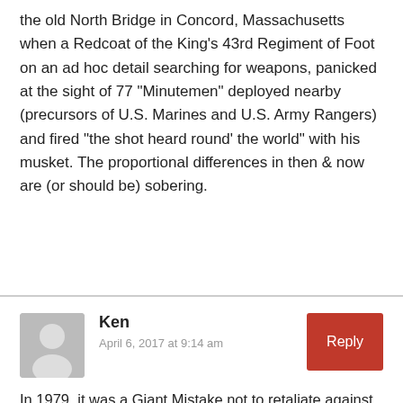the old North Bridge in Concord, Massachusetts when a Redcoat of the King's 43rd Regiment of Foot on an ad hoc detail searching for weapons, panicked at the sight of 77 "Minutemen" deployed nearby (precursors of U.S. Marines and U.S. Army Rangers) and fired "the shot heard round' the world" with his musket. The proportional differences in then & now are (or should be) sobering.
Ken
April 6, 2017 at 9:14 am
In 1979, it was a Giant Mistake not to retaliate against Iran for their Act of War against the USA. The embassy is US property and as such we should have retaliated immediately! That would have put Iran on notice. Don't F with US!!! Carter was a winnow! ? Same with